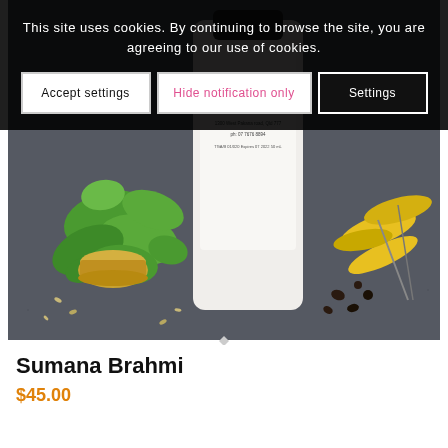This site uses cookies. By continuing to browse the site, you are agreeing to our use of cookies.
Accept settings
Hide notification only
Settings
[Figure (photo): A white bottle labeled 'Sumana Brahmi / Ayurvedic Shed' surrounded by green herbs, yellow flowers, seeds, and spices on a dark background.]
Sumana Brahmi
$45.00